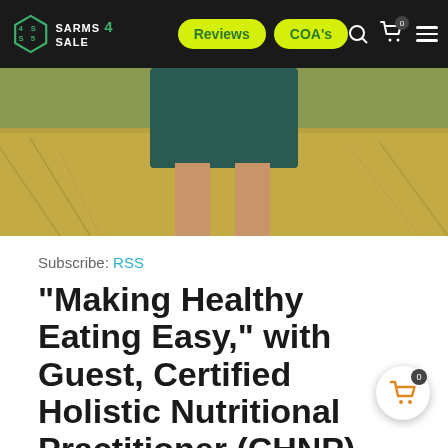SARMS 4 SALE | Reviews | COA's
[Figure (photo): Person running or walking in a grassy field, wearing dark shorts, barefoot or near barefoot, viewed from legs down]
Subscribe: RSS
“Making Healthy Eating Easy,” with Guest, Certified Holistic Nutritional Practitioner (CHNP), Nutrition